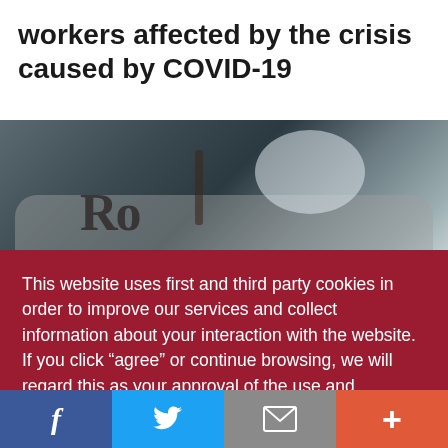workers affected by the crisis caused by COVID-19
[Figure (photo): Blurred photo showing what appears to be glasses or optical equipment in a dark, out-of-focus setting]
This website uses first and third party cookies in order to improve our services and collect information about your interaction with the website. If you click “agree” or continue browsing, we will regard this as your approval of the use and installation on your desktop or device. Find more information in our cookies policy. cookies policy.
Facebook | Twitter | Email | More